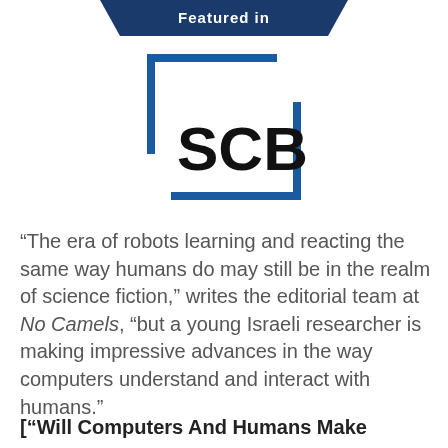Featured in
[Figure (logo): SCB logo — bold blue square bracket outline with 'SCB' text in black inside]
“The era of robots learning and reacting the same way humans do may still be in the realm of science fiction,” writes the editorial team at No Camels, “but a young Israeli researcher is making impressive advances in the way computers understand and interact with humans.” [“Will Computers And Humans Make